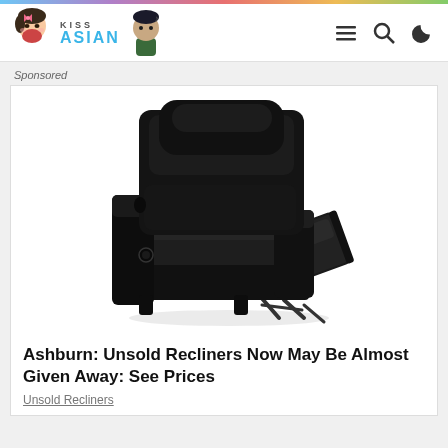KISS ASIAN (navigation bar with logo and icons)
Sponsored
[Figure (photo): Black leather recliner chair with footrest extended, shown in product advertisement]
Ashburn: Unsold Recliners Now May Be Almost Given Away: See Prices
Unsold Recliners